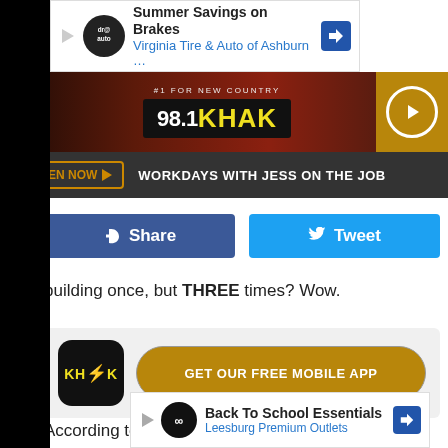[Figure (screenshot): Advertisement banner: Summer Savings on Brakes, Virginia Tire & Auto of Ashburn]
[Figure (logo): 98.1 KHAK radio station header with #1 For New Country tagline]
[Figure (screenshot): Listen Now bar: WORKDAYS WITH JESS ON THE JOB]
[Figure (screenshot): Facebook Share and Twitter Tweet social buttons]
building once, but THREE times? Wow.
[Figure (screenshot): KHAK app promo: GET OUR FREE MOBILE APP]
According to KWQC, one unlucky business has been hit three times by vehicles since opening. Sharon's Styling Studio off of Roc... time
[Figure (screenshot): Advertisement banner: Back To School Essentials, Leesburg Premium Outlets]